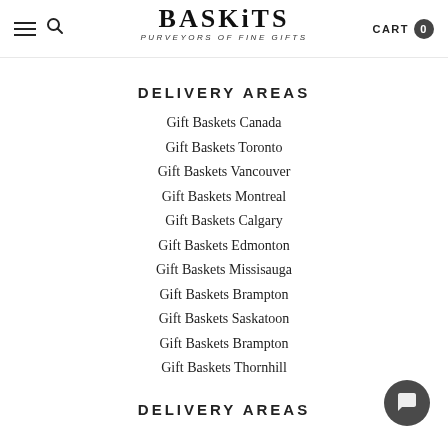BASKITS — PURVEYORS of FINE GIFTS | CART 0
DELIVERY AREAS
Gift Baskets Canada
Gift Baskets Toronto
Gift Baskets Vancouver
Gift Baskets Montreal
Gift Baskets Calgary
Gift Baskets Edmonton
Gift Baskets Missisauga
Gift Baskets Brampton
Gift Baskets Saskatoon
Gift Baskets Brampton
Gift Baskets Thornhill
DELIVERY AREAS